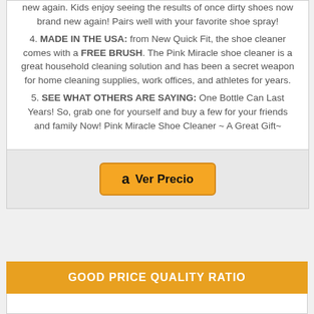new again. Kids enjoy seeing the results of once dirty shoes now brand new again! Pairs well with your favorite shoe spray!
4. MADE IN THE USA: from New Quick Fit, the shoe cleaner comes with a FREE BRUSH. The Pink Miracle shoe cleaner is a great household cleaning solution and has been a secret weapon for home cleaning supplies, work offices, and athletes for years.
5. SEE WHAT OTHERS ARE SAYING: One Bottle Can Last Years! So, grab one for yourself and buy a few for your friends and family Now! Pink Miracle Shoe Cleaner ~ A Great Gift~
[Figure (other): Orange Amazon button with 'Ver Precio' text]
GOOD PRICE QUALITY RATIO